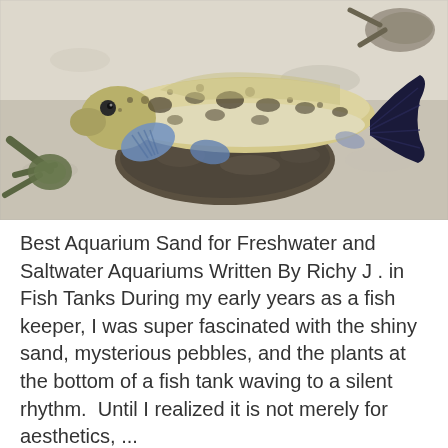[Figure (photo): A spotted fish (goby or dragonet) resting on a rock on a sandy substrate. The fish has a speckled yellow-white and dark pattern with blue-tinted fins. Other marine creatures are visible around it on the sand.]
Best Aquarium Sand for Freshwater and Saltwater Aquariums Written By Richy J . in Fish Tanks During my early years as a fish keeper, I was super fascinated with the shiny sand, mysterious pebbles, and the plants at the bottom of a fish tank waving to a silent rhythm.  Until I realized it is not merely for aesthetics, ...